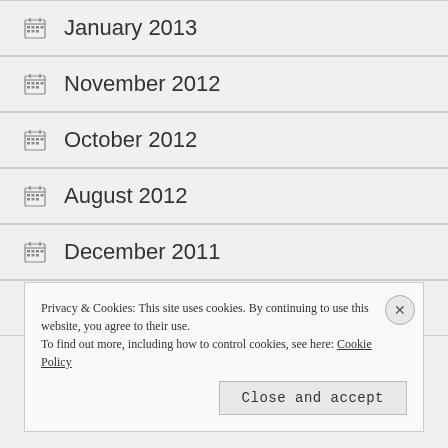January 2013
November 2012
October 2012
August 2012
December 2011
July 2011
Privacy & Cookies: This site uses cookies. By continuing to use this website, you agree to their use. To find out more, including how to control cookies, see here: Cookie Policy
Close and accept